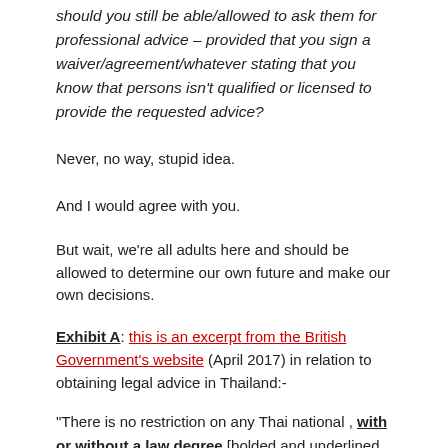should you still be able/allowed to ask them for professional advice – provided that you sign a waiver/agreement/whatever stating that you know that persons isn't qualified or licensed to provide the requested advice?
Never, no way, stupid idea.
And I would agree with you.
But wait, we're all adults here and should be allowed to determine our own future and make our own decisions.
Exhibit A: this is an excerpt from the British Government's website (April 2017) in relation to obtaining legal advice in Thailand:-
"There is no restriction on any Thai national , with or without a law degree [bolded and underlined for emphasis by me], to offer you legal advice."
Now Thailand is a civil law jurisdiction with a codified law, but still